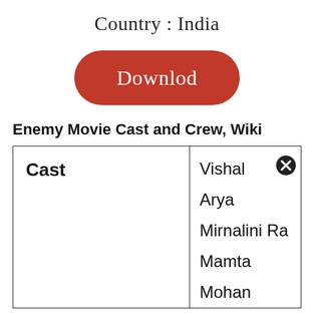Country : India
[Figure (other): Red rounded rectangle download button with white text 'Downlod']
Enemy Movie Cast and Crew, Wiki
| Cast |  |
| --- | --- |
|  | Vishal |
|  | Arya |
|  | Mirnalini Ra |
|  | Mamta |
|  | Mohan... |